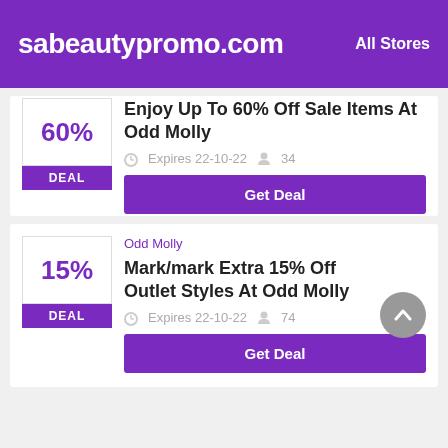sabeautypromo.com  All Stores
60% DEAL
Enjoy Up To 60% Off Sale Items At Odd Molly
Expires 22-10-22  34
Get Deal
Odd Molly
15% DEAL
Mark/mark Extra 15% Off Outlet Styles At Odd Molly
Expires 22-10-22  74
Get Deal